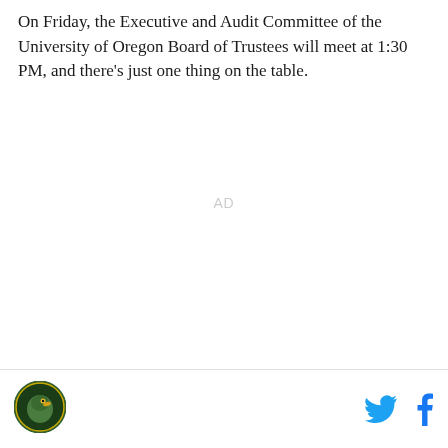On Friday, the Executive and Audit Committee of the University of Oregon Board of Trustees will meet at 1:30 PM, and there's just one thing on the table.
[Figure (other): Advertisement placeholder labeled AD]
According to the agenda, the only topic will be the
[Figure (logo): University of Oregon duck logo in circular badge, green and yellow]